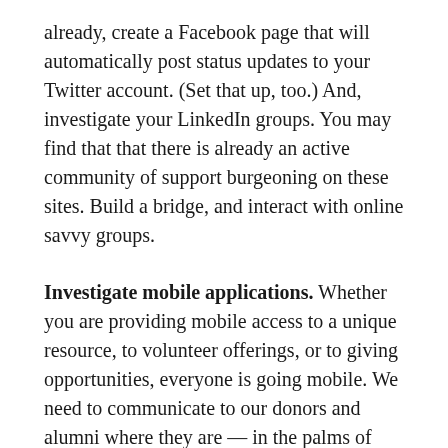already, create a Facebook page that will automatically post status updates to your Twitter account. (Set that up, too.) And, investigate your LinkedIn groups. You may find that that there is already an active community of support burgeoning on these sites. Build a bridge, and interact with online savvy groups.
Investigate mobile applications. Whether you are providing mobile access to a unique resource, to volunteer offerings, or to giving opportunities, everyone is going mobile. We need to communicate to our donors and alumni where they are — in the palms of their hands — through mobile applications, texting, and mobile-friendly rendering of our